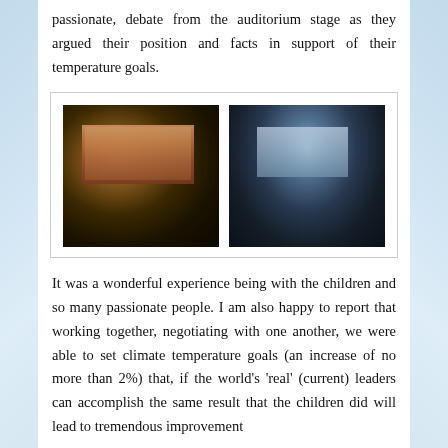passionate, debate from the auditorium stage as they argued their position and facts in support of their temperature goals.
[Figure (photo): Two side-by-side dark photographs of children presenting on stage in an auditorium, with a large projection screen visible behind them showing a colorful table or chart.]
It was a wonderful experience being with the children and so many passionate people. I am also happy to report that working together, negotiating with one another, we were able to set climate temperature goals (an increase of no more than 2%) that, if the world's 'real' (current) leaders can accomplish the same result that the children did will lead to tremendous improvement